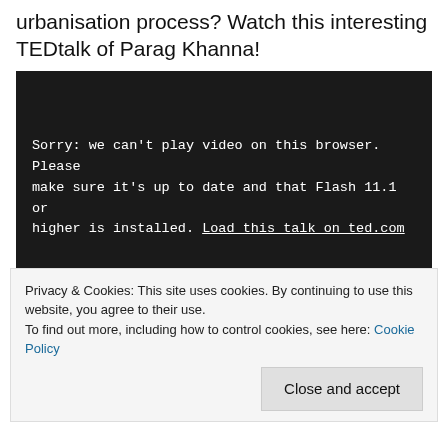urbanisation process? Watch this interesting TEDtalk of Parag Khanna!
[Figure (screenshot): Embedded video player showing error message: 'Sorry: we can't play video on this browser. Please make sure it's up to date and that Flash 11.1 or higher is installed. Load this talk on ted.com']
“I want you to reimagine how life is organized on earth,” says
Privacy & Cookies: This site uses cookies. By continuing to use this website, you agree to their use. To find out more, including how to control cookies, see here: Cookie Policy
Close and accept